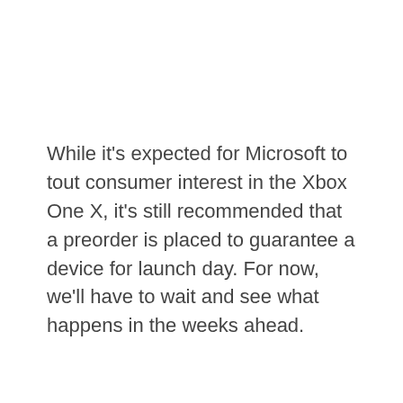While it's expected for Microsoft to tout consumer interest in the Xbox One X, it's still recommended that a preorder is placed to guarantee a device for launch day. For now, we'll have to wait and see what happens in the weeks ahead.